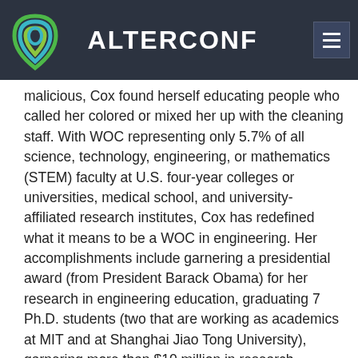ALTERCONF
malicious, Cox found herself educating people who called her colored or mixed her up with the cleaning staff. With WOC representing only 5.7% of all science, technology, engineering, or mathematics (STEM) faculty at U.S. four-year colleges or universities, medical school, and university-affiliated research institutes, Cox has redefined what it means to be a WOC in engineering. Her accomplishments include garnering a presidential award (from President Barack Obama) for her research in engineering education, graduating 7 Ph.D. students (two that are working as academics at MIT and at Shanghai Jiao Tong University), garnering more than $10 million in research funding, and publishing more than 100 research publications. Cox will share how her experience as a WOC in